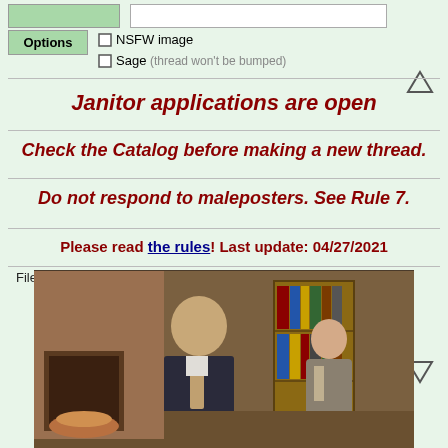Options  NSFW image  Sage (thread won't be bumped)
Janitor applications are open
Check the Catalog before making a new thread.
Do not respond to maleposters. See Rule 7.
Please read the rules! Last update: 04/27/2021
File (hide):
[Figure (photo): Screenshot from the TV show Frasier showing two men in suits standing in a living room/study setting with bookshelves in the background.]